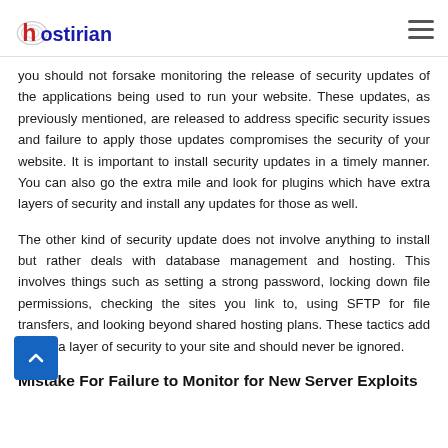hostirian [logo] [hamburger menu]
you should not forsake monitoring the release of security updates of the applications being used to run your website. These updates, as previously mentioned, are released to address specific security issues and failure to apply those updates compromises the security of your website. It is important to install security updates in a timely manner. You can also go the extra mile and look for plugins which have extra layers of security and install any updates for those as well.
The other kind of security update does not involve anything to install but rather deals with database management and hosting. This involves things such as setting a strong password, locking down file permissions, checking the sites you link to, using SFTP for file transfers, and looking beyond shared hosting plans. These tactics add an extra layer of security to your site and should never be ignored.
Mistake For Failure to Monitor for New Server Exploits